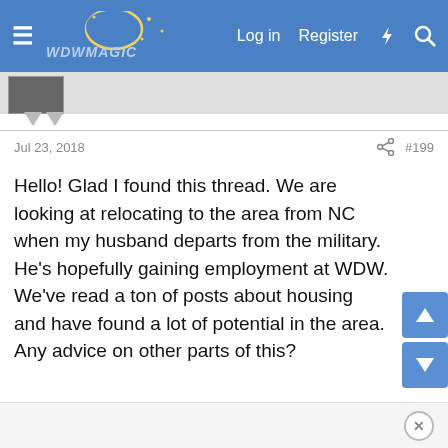WDWMagic — Log in | Register
Jul 23, 2018  #199
Hello! Glad I found this thread. We are looking at relocating to the area from NC when my husband departs from the military. He's hopefully gaining employment at WDW. We've read a ton of posts about housing and have found a lot of potential in the area. Any advice on other parts of this?
↩ Reply